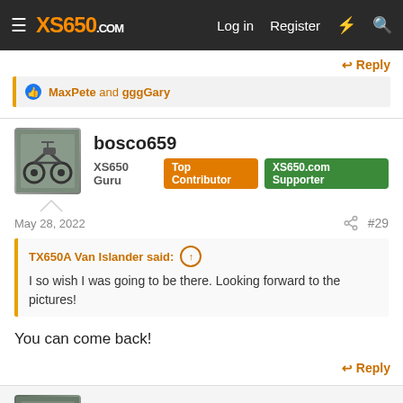XS650.com — Log in  Register
Reply
MaxPete and gggGary
bosco659
XS650 Guru  Top Contributor  XS650.com Supporter
May 28, 2022  #29
TX650A Van Islander said: ↑
I so wish I was going to be there. Looking forward to the pictures!
You can come back!
Reply
TX650A Van Islander
XS650 Addict  Top Contributor  XS650.com Supporter